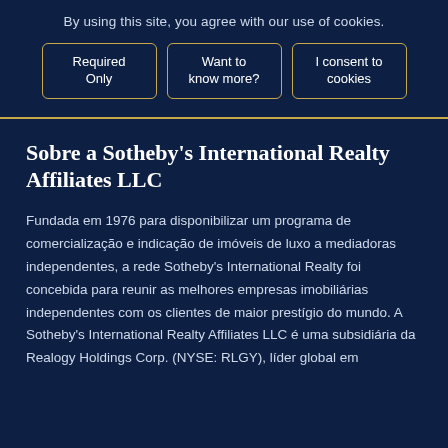By using this site, you agree with our use of cookies.
Required Only
Want to know more?
I consent to cookies
Sobre a Sotheby's International Realty Affiliates LLC
Fundada em 1976 para disponibilizar um programa de comercialização e indicação de imóveis de luxo a mediadoras independentes, a rede Sotheby's International Realty foi concebida para reunir as melhores empresas imobiliárias independentes com os clientes de maior prestígio do mundo. A Sotheby's International Realty Affiliates LLC é uma subsidiária da Realogy Holdings Corp. (NYSE: RLGY), líder global em